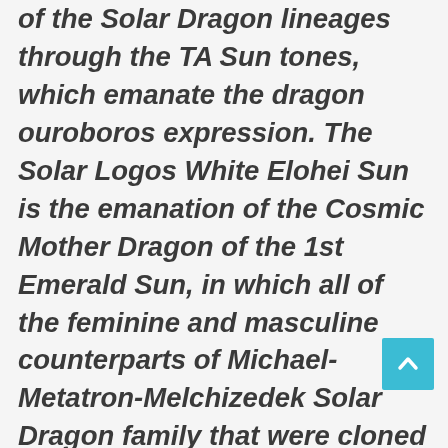of the Solar Dragon lineages through the TA Sun tones, which emanate the dragon ouroboros expression. The Solar Logos White Elohei Sun is the emanation of the Cosmic Mother Dragon of the 1st Emerald Sun, in which all of the feminine and masculine counterparts of Michael-Metatron-Melchizedek Solar Dragon family that were cloned or enslaved through the Alpha Draconis network are being recovered and reunited with their hierogamic partner via the Cosmic Emerald Order Ankh body. Cosmic Father merges his Cosmic